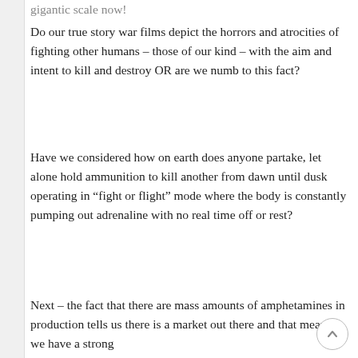gigantic scale now!
Do our true story war films depict the horrors and atrocities of fighting other humans – those of our kind – with the aim and intent to kill and destroy OR are we numb to this fact?
Have we considered how on earth does anyone partake, let alone hold ammunition to kill another from dawn until dusk operating in “fight or flight” mode where the body is constantly pumping out adrenaline with no real time off or rest?
Next – the fact that there are mass amounts of amphetamines in production tells us there is a market out there and that means we have a strong